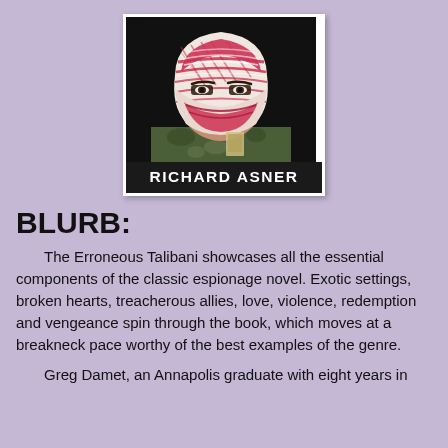[Figure (photo): Book cover for a novel by Richard Asner. Shows a person wearing a red and white keffiyeh/headscarf covering their face, dressed in camouflage, against a black background. The author name RICHARD ASNER appears in bold white text on a black bar at the bottom of the cover.]
BLURB:
The Erroneous Talibani showcases all the essential components of the classic espionage novel. Exotic settings, broken hearts, treacherous allies, love, violence, redemption and vengeance spin through the book, which moves at a breakneck pace worthy of the best examples of the genre.
Greg Damet, an Annapolis graduate with eight years in